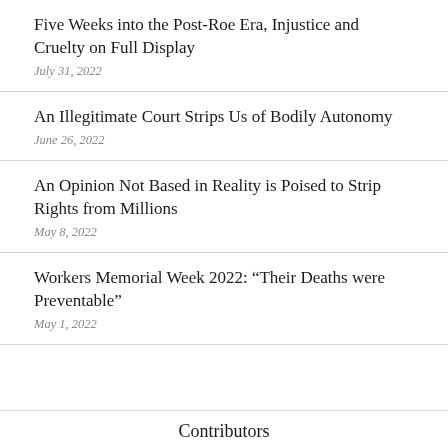Five Weeks into the Post-Roe Era, Injustice and Cruelty on Full Display
July 31, 2022
An Illegitimate Court Strips Us of Bodily Autonomy
June 26, 2022
An Opinion Not Based in Reality is Poised to Strip Rights from Millions
May 8, 2022
Workers Memorial Week 2022: “Their Deaths were Preventable”
May 1, 2022
Contributors